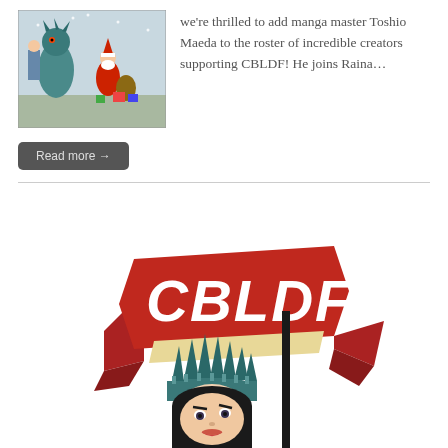[Figure (illustration): Comic book style illustration showing Santa Claus and a monster/creature character]
we're thrilled to add manga master Toshio Maeda to the roster of incredible creators supporting CBLDF! He joins Raina…
Read more →
[Figure (logo): CBLDF (Comic Book Legal Defense Fund) logo featuring a stylized Statue of Liberty holding a banner that reads CBLDF in bold red and white letters]